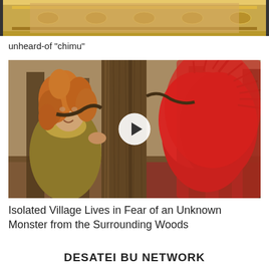[Figure (photo): Top portion of a decorative gold-framed painting or artwork, partially visible, cropped at the top of the page]
unheard-of "chimu"
[Figure (photo): Movie still showing a woman with curly red hair in medieval/period costume peeking around a large tree trunk, with a creature or figure in a bright red feathered/furry costume on the right side, in a forest setting. A circular play button overlay is centered on the image.]
Isolated Village Lives in Fear of an Unknown Monster from the Surrounding Woods
DESATEI BU NETWORK